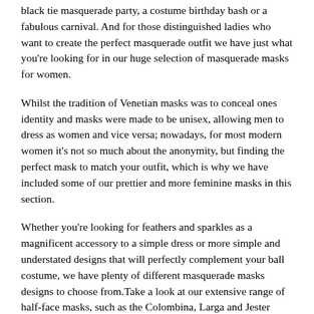black tie masquerade party, a costume birthday bash or a fabulous carnival. And for those distinguished ladies who want to create the perfect masquerade outfit we have just what you're looking for in our huge selection of masquerade masks for women.
Whilst the tradition of Venetian masks was to conceal ones identity and masks were made to be unisex, allowing men to dress as women and vice versa; nowadays, for most modern women it's not so much about the anonymity, but finding the perfect mask to match your outfit, which is why we have included some of our prettier and more feminine masks in this section.
Whether you're looking for feathers and sparkles as a magnificent accessory to a simple dress or more simple and understated designs that will perfectly complement your ball costume, we have plenty of different masquerade masks designs to choose from. Take a look at our extensive range of half-face masks, such as the Colombina, Larga and Jester masks, which can be finished with feathers, glitter, gold overleaf and jewels or simply painted or gilded.
We also have a number of full-face masks and animal masks like the Cat mask, if you're looking for something a